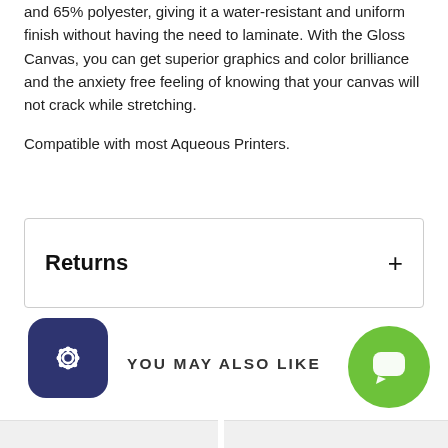and 65% polyester, giving it a water-resistant and uniform finish without having the need to laminate. With the Gloss Canvas, you can get superior graphics and color brilliance and the anxiety free feeling of knowing that your canvas will not crack while stretching.
Compatible with most Aqueous Printers.
Returns
YOU MAY ALSO LIKE